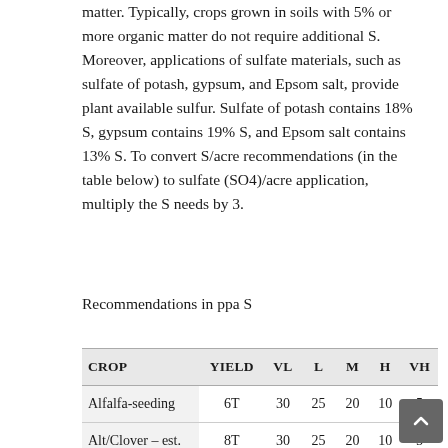matter. Typically, crops grown in soils with 5% or more organic matter do not require additional S. Moreover, applications of sulfate materials, such as sulfate of potash, gypsum, and Epsom salt, provide plant available sulfur. Sulfate of potash contains 18% S, gypsum contains 19% S, and Epsom salt contains 13% S. To convert S/acre recommendations (in the table below) to sulfate (SO4)/acre application, multiply the S needs by 3.
Recommendations in ppa S
| CROP | YIELD | VL | L | M | H | VH |
| --- | --- | --- | --- | --- | --- | --- |
| Alfalfa-seeding | 6T | 30 | 25 | 20 | 10 | 5 |
| Alt/Clover – est. | 8T | 30 | 25 | 20 | 10 | 5 |